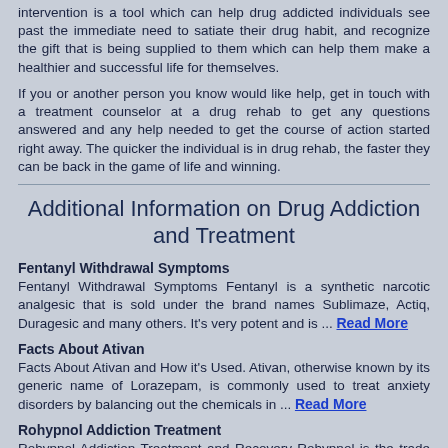intervention is a tool which can help drug addicted individuals see past the immediate need to satiate their drug habit, and recognize the gift that is being supplied to them which can help them make a healthier and successful life for themselves.
If you or another person you know would like help, get in touch with a treatment counselor at a drug rehab to get any questions answered and any help needed to get the course of action started right away. The quicker the individual is in drug rehab, the faster they can be back in the game of life and winning.
Additional Information on Drug Addiction and Treatment
Fentanyl Withdrawal Symptoms
Fentanyl Withdrawal Symptoms Fentanyl is a synthetic narcotic analgesic that is sold under the brand names Sublimaze, Actiq, Duragesic and many others. It's very potent and is ... Read More
Facts About Ativan
Facts About Ativan and How it's Used. Ativan, otherwise known by its generic name of Lorazepam, is commonly used to treat anxiety disorders by balancing out the chemicals in ... Read More
Rohypnol Addiction Treatment
Rohypnol Addiction Treatment and Recovery Rohypnol is the trade name for the generic compound flunitrazepam. It is a...